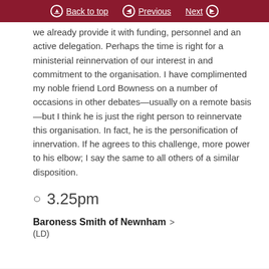Back to top | Previous | Next
we already provide it with funding, personnel and an active delegation. Perhaps the time is right for a ministerial reinnervation of our interest in and commitment to the organisation. I have complimented my noble friend Lord Bowness on a number of occasions in other debates—usually on a remote basis—but I think he is just the right person to reinnervate this organisation. In fact, he is the personification of innervation. If he agrees to this challenge, more power to his elbow; I say the same to all others of a similar disposition.
3.25pm
Baroness Smith of Newnham
(LD)